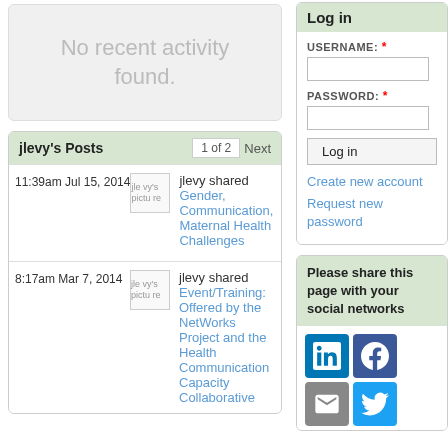No recent activity found.
jlevy's Posts
1 of 2  Next
11:39am Jul 15, 2014 — jlevy shared Gender, Communication, Maternal Health Challenges
8:17am Mar 7, 2014 — jlevy shared Event/Training: Offered by the NetWorks Project and the Health Communication Capacity Collaborative
Log in
USERNAME: *
PASSWORD: *
Log in
Create new account
Request new password
Please share this page with your social networks
[Figure (other): Social media icons: LinkedIn, Facebook, Email, Twitter]